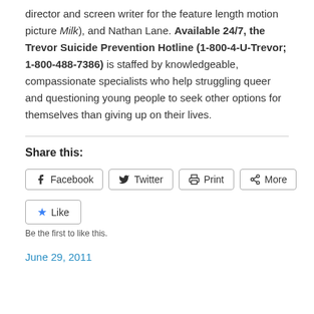director and screen writer for the feature length motion picture Milk), and Nathan Lane. Available 24/7, the Trevor Suicide Prevention Hotline (1-800-4-U-Trevor; 1-800-488-7386) is staffed by knowledgeable, compassionate specialists who help struggling queer and questioning young people to seek other options for themselves than giving up on their lives.
Share this:
[Figure (other): Social sharing buttons: Facebook, Twitter, Print, More]
[Figure (other): Like button with star icon and caption 'Be the first to like this.']
June 29, 2011